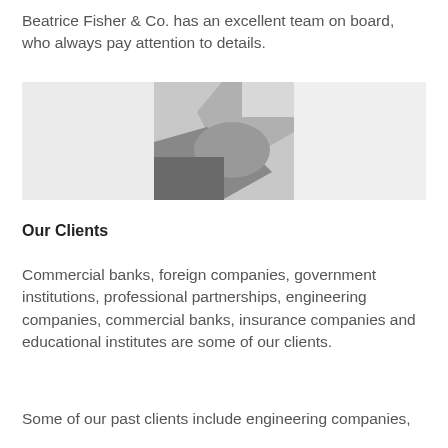Beatrice Fisher & Co. has an excellent team on board, who always pay attention to details.
[Figure (photo): Two people shaking hands in business attire, with a light grey/white background on left and right sides flanking the central handshake image.]
Our Clients
Commercial banks, foreign companies, government institutions, professional partnerships, engineering companies, commercial banks, insurance companies and educational institutes are some of our clients.
Some of our past clients include engineering companies,